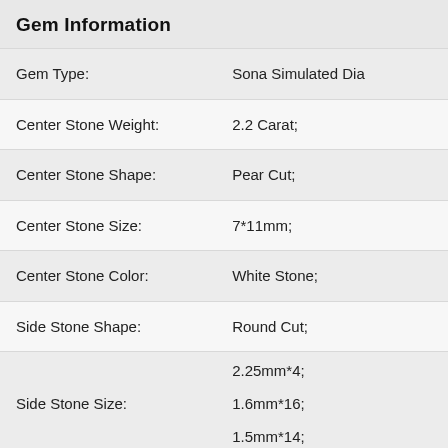Gem Information
| Property | Value |
| --- | --- |
| Gem Type: | Sona Simulated Dia |
| Center Stone Weight: | 2.2 Carat; |
| Center Stone Shape: | Pear Cut; |
| Center Stone Size: | 7*11mm; |
| Center Stone Color: | White Stone; |
| Side Stone Shape: | Round Cut; |
| Side Stone Size: | 2.25mm*4;
1.6mm*16;
1.5mm*14; |